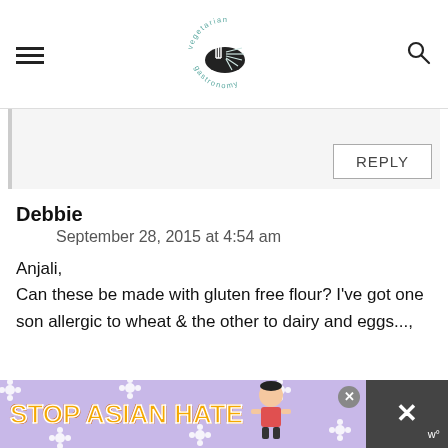vegetarian gastronomy
REPLY
Debbie
September 28, 2015 at 4:54 am
Anjali,
Can these be made with gluten free flour? I've got one son allergic to wheat & the other to dairy and eggs...,
[Figure (infographic): Stop Asian Hate advertisement banner at the bottom of the page with purple floral background, orange bold text, and a character illustration.]